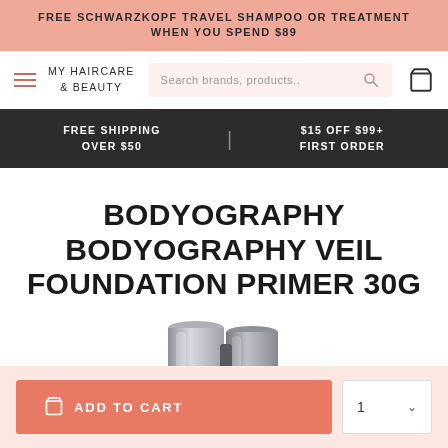FREE SCHWARZKOPF TRAVEL SHAMPOO OR TREATMENT WHEN YOU SPEND $89
MY HAIRCARE & BEAUTY
Search brands, products..
FREE SHIPPING OVER $50 | $15 OFF $99+ FIRST ORDER
BODYOGRAPHY BODYOGRAPHY VEIL FOUNDATION PRIMER 30G
[Figure (photo): Product photo of Bodyography Veil Foundation Primer 30G — two silver/chrome cylindrical cosmetic containers]
ADD TO CART